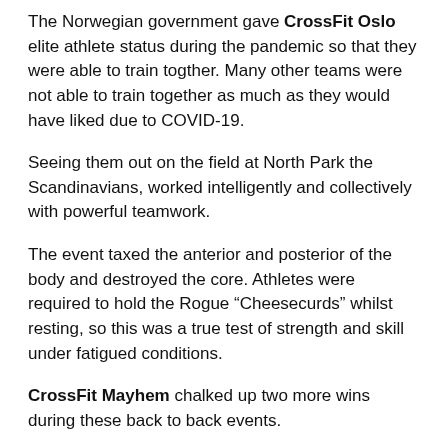The Norwegian government gave CrossFit Oslo elite athlete status during the pandemic so that they were able to train togther. Many other teams were not able to train together as much as they would have liked due to COVID-19.
Seeing them out on the field at North Park the Scandinavians, worked intelligently and collectively with powerful teamwork.
The event taxed the anterior and posterior of the body and destroyed the core. Athletes were required to hold the Rogue “Cheesecurds” whilst resting, so this was a true test of strength and skill under fatigued conditions.
CrossFit Mayhem chalked up two more wins during these back to back events.
CrossFit Games 2021 Teams Day 1 Recap – Event 4